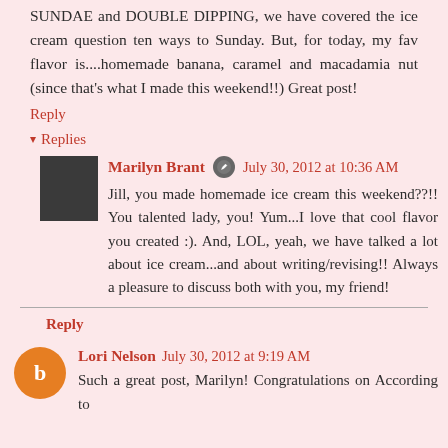SUNDAE and DOUBLE DIPPING, we have covered the ice cream question ten ways to Sunday. But, for today, my fav flavor is....homemade banana, caramel and macadamia nut (since that's what I made this weekend!!) Great post!
Reply
▾ Replies
Marilyn Brant  July 30, 2012 at 10:36 AM
Jill, you made homemade ice cream this weekend??!! You talented lady, you! Yum...I love that cool flavor you created :). And, LOL, yeah, we have talked a lot about ice cream...and about writing/revising!! Always a pleasure to discuss both with you, my friend!
Reply
Lori Nelson  July 30, 2012 at 9:19 AM
Such a great post, Marilyn! Congratulations on According to